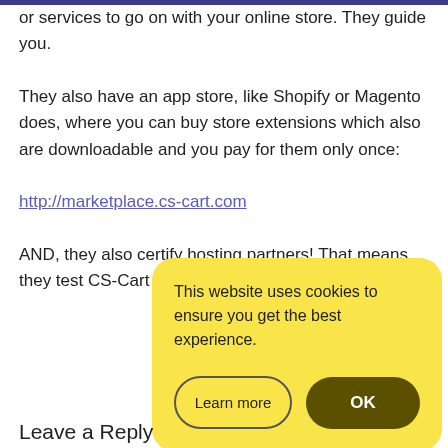or services to go on with your online store. They guide you.
They also have an app store, like Shopify or Magento does, where you can buy store extensions which also are downloadable and you pay for them only once:
http://marketplace.cs-cart.com
AND, they also certify hosting partners! That means they test CS-Cart on different hosting
[Figure (screenshot): Cookie consent overlay with yellow background containing message 'This website uses cookies to ensure you get the best experience.' and two buttons: 'Learn more' and 'OK']
Leave a Reply